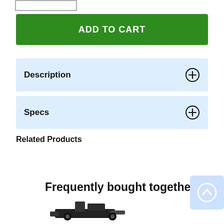[quantity input box]
ADD TO CART
Description
Specs
Related Products
Frequently bought together
[Figure (photo): Product image silhouette at bottom of page]